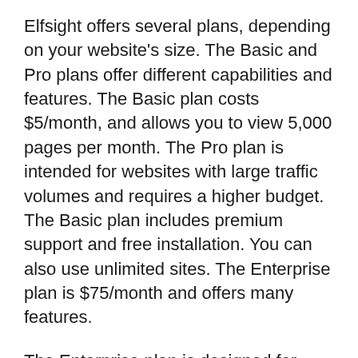Elfsight offers several plans, depending on your website's size. The Basic and Pro plans offer different capabilities and features. The Basic plan costs $5/month, and allows you to view 5,000 pages per month. The Pro plan is intended for websites with large traffic volumes and requires a higher budget. The Basic plan includes premium support and free installation. You can also use unlimited sites. The Enterprise plan is $75/month and offers many features.
The Enterprise plan is designed for large businesses that have many websites. This plan is ideal for client websites and websites with high traffic. You can add as many websites and get Elfsight installation free of charge with this plan. Elfsight also provides a...